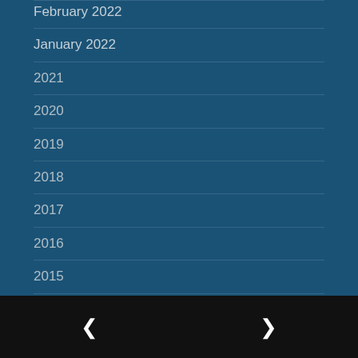February 2022
January 2022
2021
2020
2019
2018
2017
2016
2015
2014
2011